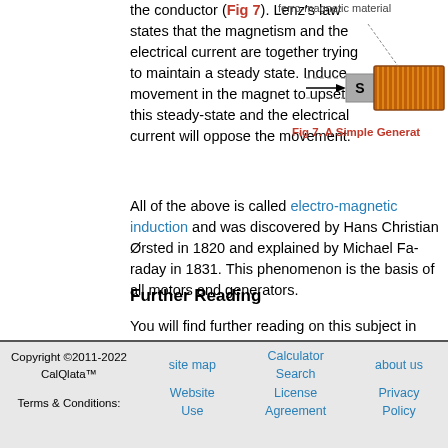the conductor (Fig 7). Lenz's law states that the magnetism and the electrical current are together trying to maintain a steady state. Induce movement in the magnet to upset this steady-state and the electrical current will oppose the movement.
[Figure (illustration): Diagram of a simple generator showing ferro-magnetic material label, a coil (solenoid) in orange/copper color, and a magnet labeled S with an arrow pointing into the coil. Caption: Fig 7. A Simple Generator]
Fig 7. A Simple Generator
All of the above is called electro-magnetic induction and was discovered by Hans Christian Ørsted in 1820 and explained by Michael Faraday in 1831. This phenomenon is the basis of all motors and generators.
Further Reading
You will find further reading on this subject in reference publications (Refs 5 & 22)
Copyright ©2011-2022 CalQlata™  Terms & Conditions:    site map   Calculator Search   about us   Website Use   License Agreement   Privacy Policy